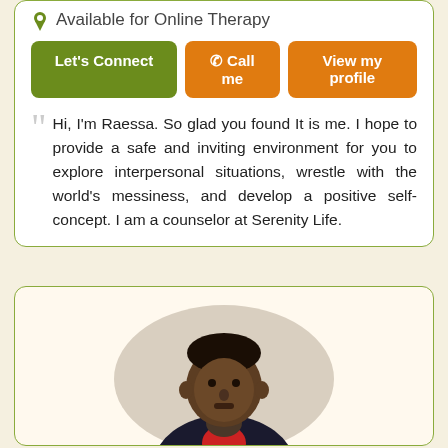Available for Online Therapy
Let's Connect | Call me | View my profile
Hi, I'm Raessa. So glad you found It is me. I hope to provide a safe and inviting environment for you to explore interpersonal situations, wrestle with the world's messiness, and develop a positive self-concept. I am a counselor at Serenity Life.
[Figure (photo): Photo of a man in a dark jacket with red shirt, shown from shoulders up, with an arched background.]